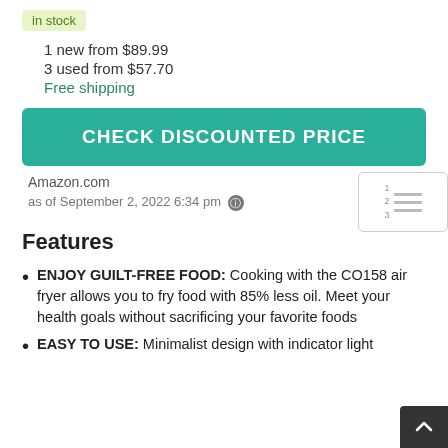in stock
1 new from $89.99
3 used from $57.70
Free shipping
CHECK DISCOUNTED PRICE
Amazon.com
as of September 2, 2022 6:34 pm
Features
ENJOY GUILT-FREE FOOD: Cooking with the CO158 air fryer allows you to fry food with 85% less oil. Meet your health goals without sacrificing your favorite foods
EASY TO USE: Minimalist design with indicator light